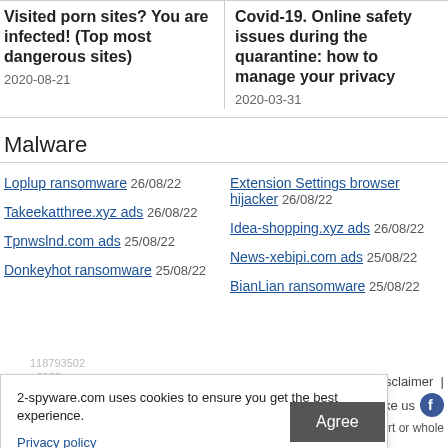Visited porn sites? You are infected! (Top most dangerous sites)
2020-08-21
Covid-19. Online safety issues during the quarantine: how to manage your privacy
2020-03-31
Malware
Loplup ransomware 26/08/22
Takeekatthree.xyz ads 26/08/22
Tpnwslnd.com ads 25/08/22
Donkeyhot ransomware 25/08/22
Extension Settings browser hijacker 26/08/22
Idea-shopping.xyz ads 26/08/22
News-xebipi.com ads 25/08/22
BianLian ransomware 25/08/22
118793502
+2330
2-spyware.com uses cookies to ensure you get the best experience.
Privacy policy
Agree
tice | Disclaimer |
Like us
duction in part or whole